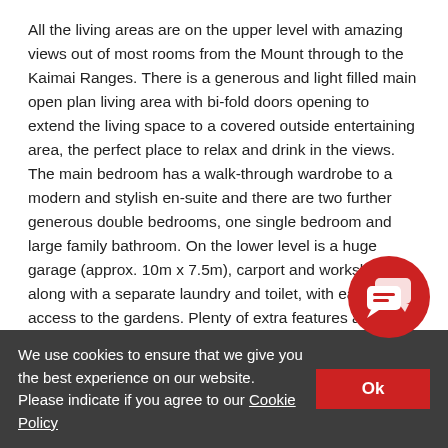All the living areas are on the upper level with amazing views out of most rooms from the Mount through to the Kaimai Ranges. There is a generous and light filled main open plan living area with bi-fold doors opening to extend the living space to a covered outside entertaining area, the perfect place to relax and drink in the views. The main bedroom has a walk-through wardrobe to a modern and stylish en-suite and there are two further generous double bedrooms, one single bedroom and large family bathroom. On the lower level is a huge garage (approx. 10m x 7.5m), carport and workshop, along with a separate laundry and toilet, with easy access to the gardens. Plenty of extra features add to the value and enjoyment of the home including central vacuum, alarm and gas fire. Outside there is plenty of lawn, colourfully planted borders, fruit trees, vegetable beds and extra parking.
We use cookies to ensure that we give you the best experience on our website. Please indicate if you agree to our Cookie Policy